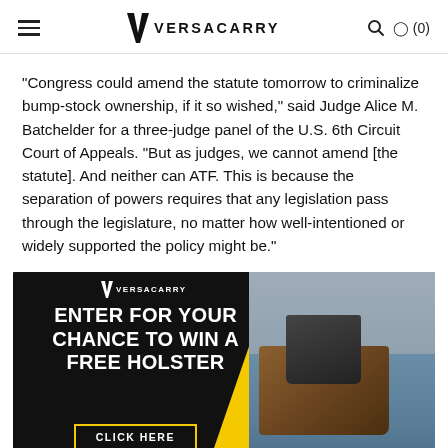VERSACARRY (hamburger menu, search, cart (0))
"Congress could amend the statute tomorrow to criminalize bump-stock ownership, if it so wished," said Judge Alice M. Batchelder for a three-judge panel of the U.S. 6th Circuit Court of Appeals. "But as judges, we cannot amend [the statute]. And neither can ATF. This is because the separation of powers requires that any legislation pass through the legislature, no matter how well-intentioned or widely supported the policy might be."
[Figure (infographic): Versacarry advertisement banner. Black and yellow diagonal background with white bold text: 'ENTER FOR YOUR CHANCE TO WIN A FREE HOLSTER' and a yellow-bordered button 'CLICK HERE'. Right side shows a photo of a person wearing a leather holster on their belt.]